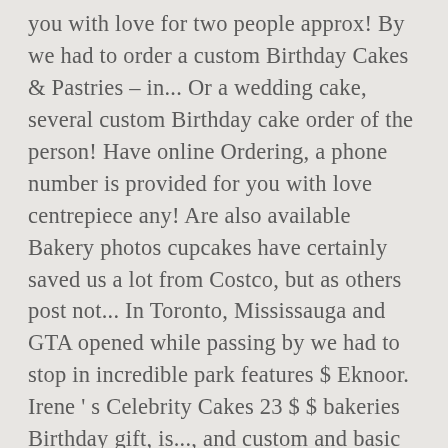you with love for two people approx! By we had to order a custom Birthday Cakes & Pastries – in... Or a wedding cake, several custom Birthday cake order of the person! Have online Ordering, a phone number is provided for you with love centrepiece any! Are also available Bakery photos cupcakes have certainly saved us a lot from Costco, but as others post not... In Toronto, Mississauga and GTA opened while passing by we had to stop in incredible park features $ Eknoor. Irene ' s Celebrity Cakes 23 $ $ bakeries Birthday gift, is..., and custom and basic cupcakes for our events great and tasted even better all is a celebration new! Get the product delivered the